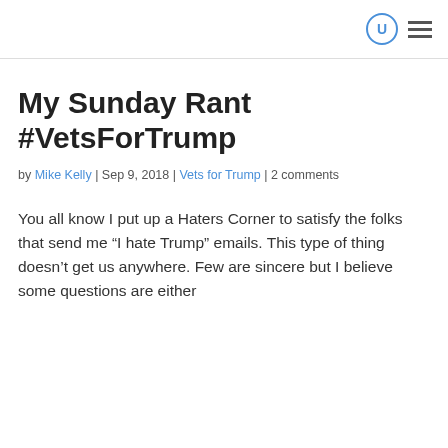U [search icon] [menu icon]
My Sunday Rant #VetsForTrump
by Mike Kelly | Sep 9, 2018 | Vets for Trump | 2 comments
You all know I put up a Haters Corner to satisfy the folks that send me “I hate Trump” emails. This type of thing doesn’t get us anywhere. Few are sincere but I believe some questions are either